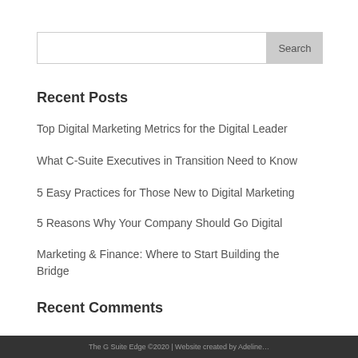Search
Recent Posts
Top Digital Marketing Metrics for the Digital Leader
What C-Suite Executives in Transition Need to Know
5 Easy Practices for Those New to Digital Marketing
5 Reasons Why Your Company Should Go Digital
Marketing & Finance: Where to Start Building the Bridge
Recent Comments
The G Suite Edge ©2020 | Website created by Adeline…